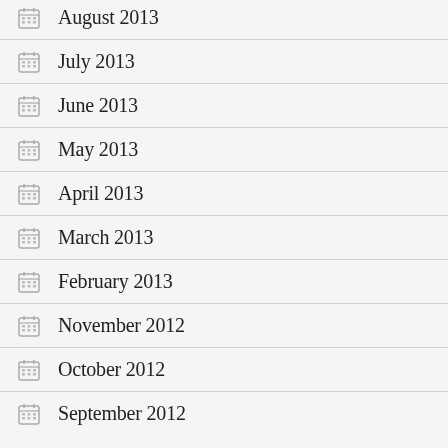August 2013
July 2013
June 2013
May 2013
April 2013
March 2013
February 2013
November 2012
October 2012
September 2012